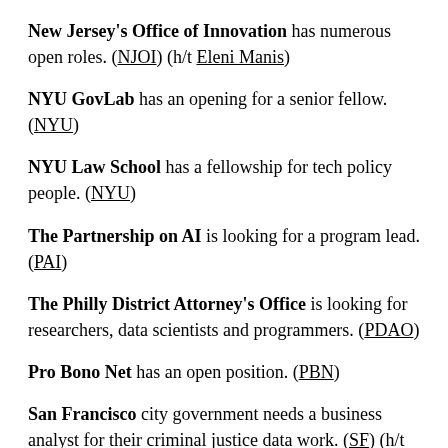New Jersey's Office of Innovation has numerous open roles. (NJOI) (h/t Eleni Manis)
NYU GovLab has an opening for a senior fellow. (NYU)
NYU Law School has a fellowship for tech policy people. (NYU)
The Partnership on AI is looking for a program lead. (PAI)
The Philly District Attorney's Office is looking for researchers, data scientists and programmers. (PDAO)
Pro Bono Net has an open position. (PBN)
San Francisco city government needs a business analyst for their criminal justice data work. (SF) (h/t Eleni Manis) A separate department need an analytics